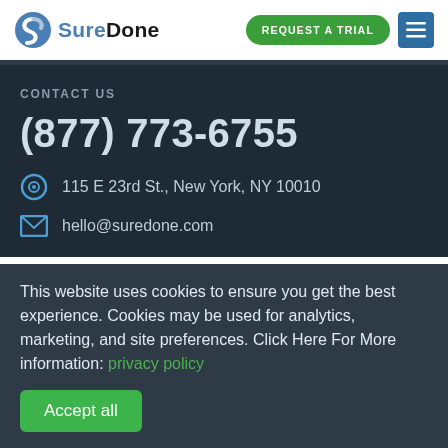[Figure (logo): SureDone logo with circular S icon in blue/grey and bold text 'SureDone']
REQUEST A TRIAL
CONTACT US
(877) 773-6755
115 E 23rd St., New York, NY 10010
hello@suredone.com
This website uses cookies to ensure you get the best experience. Cookies may be used for analytics, marketing, and site preferences. Click Here For More information: privacy policy
Accept all